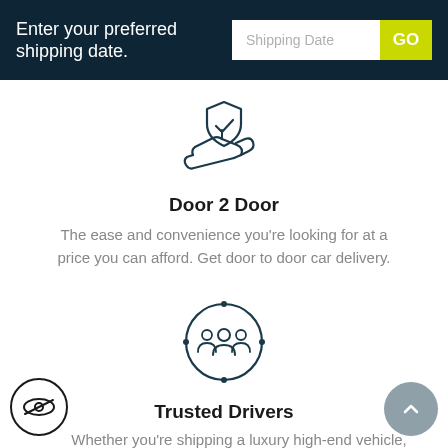Enter your preferred shipping date.
[Figure (illustration): Shield with checkmark held by a hand icon (Door 2 Door service icon)]
Door 2 Door
The ease and convenience you're looking for at a price you can afford. Get door to door car delivery.
[Figure (illustration): Group of people connected in a circle/network icon (Trusted Drivers icon)]
Trusted Drivers
Whether you're shipping a luxury high-end vehicle,